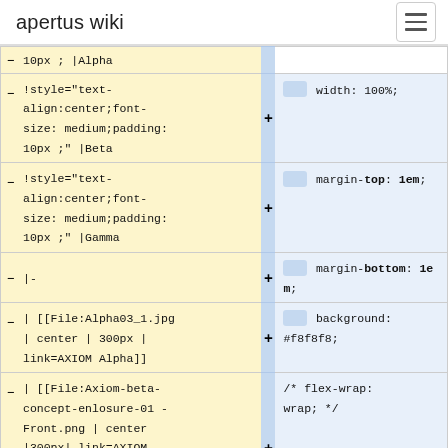apertus wiki
| Left diff (wiki markup) |  | Right diff (CSS) |
| --- | --- | --- |
| 10px ; |Alpha |  |  |
| !style="text-align:center;font-size: medium;padding: 10px ;" |Beta | + | width: 100%; |
| !style="text-align:center;font-size: medium;padding: 10px ;" |Gamma | + | margin-top: 1em; |
| |- | + | margin-bottom: 1em; |
| | [[File:Alpha03_1.jpg | center | 300px | link=AXIOM Alpha]] | + | background: #f8f8f8; |
| | [[File:Axiom-beta-concept-enlosure-01 - Front.png | center |300px| link=AXIOM | + | /* flex-wrap: wrap; */ |